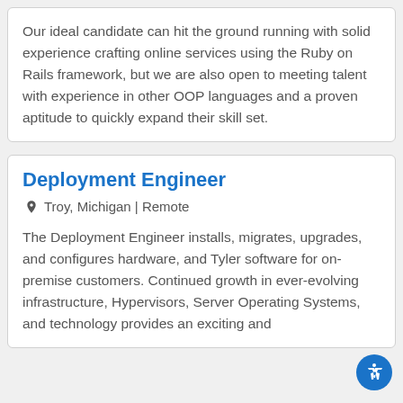Our ideal candidate can hit the ground running with solid experience crafting online services using the Ruby on Rails framework, but we are also open to meeting talent with experience in other OOP languages and a proven aptitude to quickly expand their skill set.
Deployment Engineer
Troy, Michigan | Remote
The Deployment Engineer installs, migrates, upgrades, and configures hardware, and Tyler software for on-premise customers. Continued growth in ever-evolving infrastructure, Hypervisors, Server Operating Systems, and technology provides an exciting and